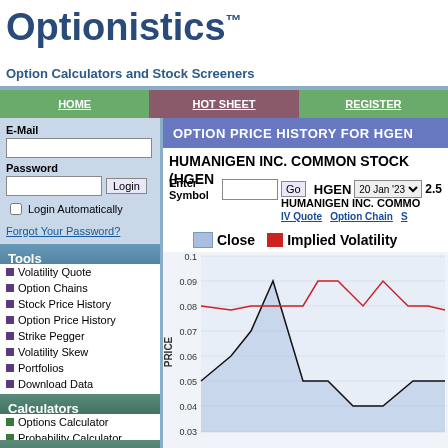Optionistics™
Option Calculators and Stock Screeners
HOME | HOT SHEET | REGISTER
E-Mail
Password
Login Automatically
Forgot Your Password?
Tools
Volatility Quote
Option Chains
Stock Price History
Option Price History
Strike Pegger
Volatility Skew
Portfolios
Download Data
Calculators
Options Calculator
Probability Calculator
Screeners
OPTION PRICE HISTORY FOR HGEN
HUMANIGEN INC. COMMON STOCK (HGEN
Enter Symbol  HGEN  20 Jan '23  2.5
HUMANIGEN INC. COMMON
IV Quote  Option Chain  S
[Figure (line-chart): Line chart showing Close price (black line) and Implied Volatility (red line) over time. Y-axis ranges from 0.03 to 0.10. Close price shows peaks around 0.09-0.10. Implied Volatility line (red) stays relatively flat around 0.08-0.09.]